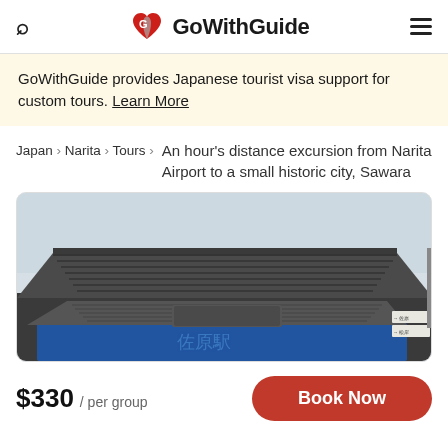GoWithGuide
GoWithGuide provides Japanese tourist visa support for custom tours. Learn More
Japan › Narita › Tours › An hour's distance excursion from Narita Airport to a small historic city, Sawara
[Figure (photo): Photo of a traditional Japanese building exterior with tiled roof, showing Sawara station facade with Japanese signage and blue storefront]
$330 / per group
Book Now